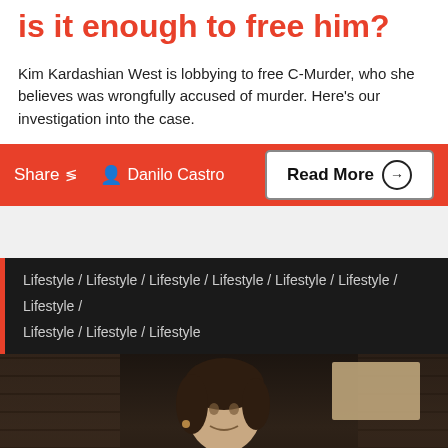is it enough to free him?
Kim Kardashian West is lobbying to free C-Murder, who she believes was wrongfully accused of murder. Here's our investigation into the case.
Share  Danilo Castro  Read More →
Lifestyle / Lifestyle / Lifestyle / Lifestyle / Lifestyle / Lifestyle / Lifestyle / Lifestyle / Lifestyle / Lifestyle
[Figure (photo): A woman with dark hair sitting at an outdoor location with brick walls and a beige box/crate in the background. She is wearing a patterned shirt.]